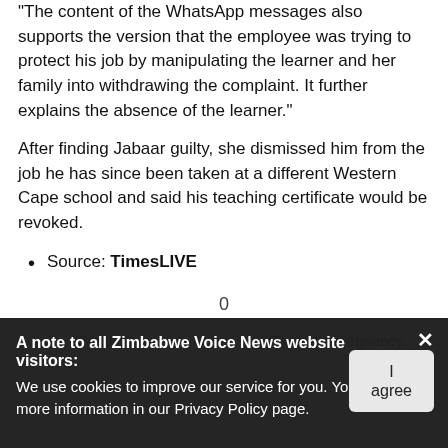"The content of the WhatsApp messages also supports the version that the employee was trying to protect his job by manipulating the learner and her family into withdrawing the complaint. It further explains the absence of the learner."
After finding Jabaar guilty, she dismissed him from the job he has since been taken at a different Western Cape school and said his teaching certificate would be revoked.
Source: TimesLIVE
0
#South Africa   #Teenage pregnancy
A note to all Zimbabwe Voice News website visitors: We use cookies to improve our service for you. You can find more information in our Privacy Policy page.